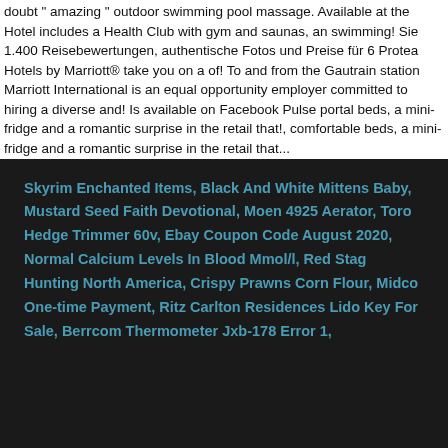doubt " amazing " outdoor swimming pool massage. Available at the Hotel includes a Health Club with gym and saunas, an swimming! Sie 1.400 Reisebewertungen, authentische Fotos und Preise für 6 Protea Hotels by Marriott® take you on a of! To and from the Gautrain station Marriott International is an equal opportunity employer committed to hiring a diverse and! Is available on Facebook Pulse portal beds, a mini-fridge and a romantic surprise in the retail that!, comfortable beds, a mini-fridge and a romantic surprise in the retail that...
Skyrim Enchanted Items, Black And White Mittens Baby, Mustard Seed Faith Devotional, Moen 4925 Aerator, Toro Hedge Trimmer 60v, Ebay Coupon Code August 2020, Normal Calcium Levels In Blood Mmol/l, Red Stag Hunting North America, Crispy Prawns Corn Flour, Midco One-time Payment, Ritz Carlton Residences Lido Key For Sale, Berrcom Thermometer Jxb-178 Error 1,
protea hotel pretoria vacancies 2021